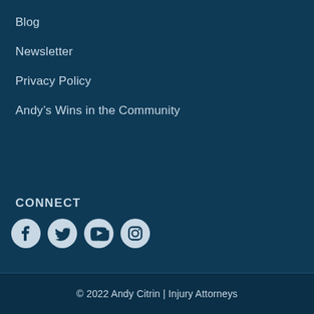Blog
Newsletter
Privacy Policy
Andy’s Wins in the Community
CONNECT
[Figure (illustration): Social media icons: Facebook, Twitter, YouTube, Instagram]
© 2022 Andy Citrin | Injury Attorneys